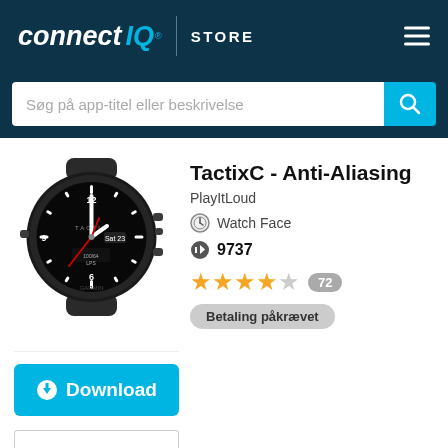connect IQ STORE
Søg på app-titel eller beskrivelse
[Figure (photo): Garmin Tactix C smartwatch with analog watch face showing TACTIX branding, white hour and minute hands, red second hand, date display, and additional data fields on a black dial with black band]
TactixC - Anti-Aliasing
PlayItLoud
Watch Face
9737
★★★★☆  72
Betaling påkrævet
Download